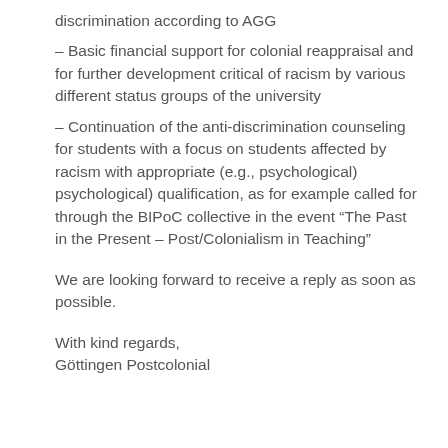discrimination according to AGG
– Basic financial support for colonial reappraisal and for further development critical of racism by various different status groups of the university
– Continuation of the anti-discrimination counseling for students with a focus on students affected by racism with appropriate (e.g., psychological) psychological) qualification, as for example called for through the BIPoC collective in the event “The Past in the Present – Post/Colonialism in Teaching”
We are looking forward to receive a reply as soon as possible.
With kind regards,
Göttingen Postcolonial